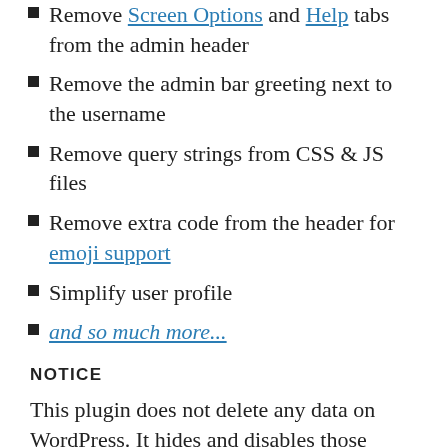Remove Screen Options and Help tabs from the admin header
Remove the admin bar greeting next to the username
Remove query strings from CSS & JS files
Remove extra code from the header for emoji support
Simplify user profile
and so much more...
NOTICE
This plugin does not delete any data on WordPress. It hides and disables those features that are blog related. If you have any existing, posts, comments, categories, and tags on your website: they must be manually deleted. That's if you do not want to keep any of the blog information. All plugin features are available in the plugin's settings (Settings > Blogging)